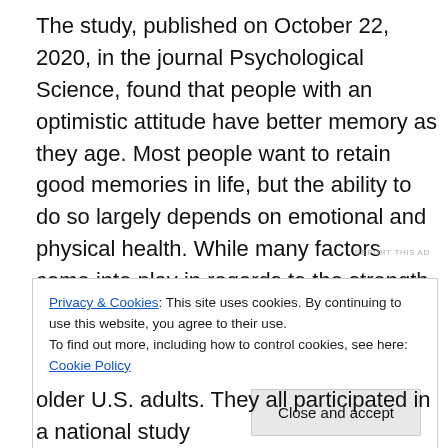The study, published on October 22, 2020, in the journal Psychological Science, found that people with an optimistic attitude have better memory as they age. Most people want to retain good memories in life, but the ability to do so largely depends on emotional and physical health. While many factors come into play in regards to the strength of our memory, it turns out being cheerful can reduce memory loss.
REPORT THIS AD
Privacy & Cookies: This site uses cookies. By continuing to use this website, you agree to their use.
To find out more, including how to control cookies, see here: Cookie Policy
Close and accept
older U.S. adults. They all participated in a national study